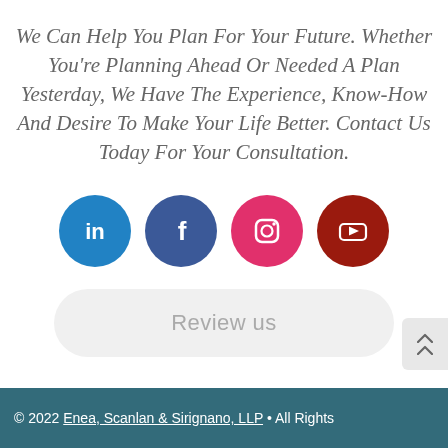We Can Help You Plan For Your Future. Whether You're Planning Ahead Or Needed A Plan Yesterday, We Have The Experience, Know-How And Desire To Make Your Life Better. Contact Us Today For Your Consultation.
[Figure (infographic): Four social media icon circles in a row: LinkedIn (blue), Facebook (dark blue), Instagram (pink/red), YouTube (dark red)]
Review us
© 2022 Enea, Scanlan & Sirignano, LLP • All Rights